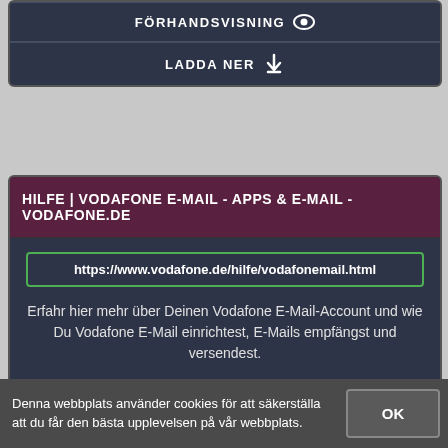FÖRHANDSVISNING
LADDA NER
HILFE | VODAFONE E-MAIL - APPS & E-MAIL - VODAFONE.DE
https://www.vodafone.de/hilfe/vodafonemail.html
Erfahr hier mehr über Deinen Vodafone E-Mail-Account und wie Du Vodafone E-Mail einrichtest, E-Mails empfängst und versendest.
STATUS: AKTIVA
FÖRHANDSVISNING
LADDA NER
Denna webbplats använder cookies för att säkerställa att du får den bästa upplevelsen på vår webbplats.